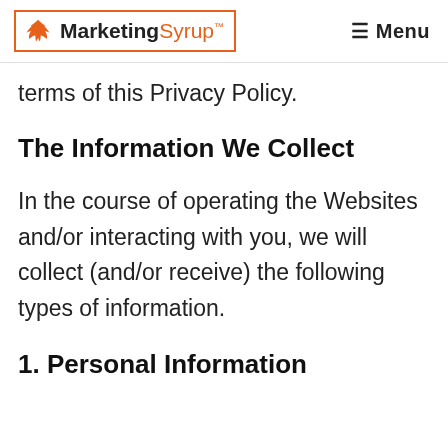MarketingSyrup™  ☰ Menu
terms of this Privacy Policy.
The Information We Collect
In the course of operating the Websites and/or interacting with you, we will collect (and/or receive) the following types of information.
1. Personal Information